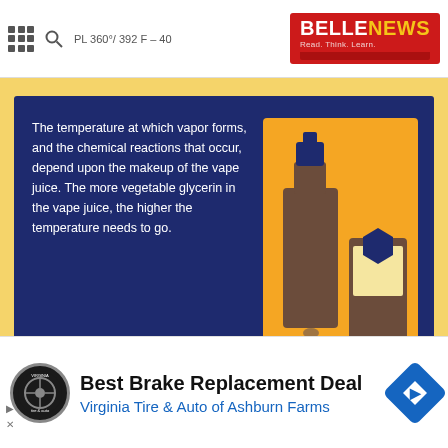BELLENEWS – Read. Think. Learn.
[Figure (infographic): Infographic showing vape devices on orange background inside a dark navy blue panel, with text about vaporization temperature and vegetable glycerin.]
The temperature at which vapor forms, and the chemical reactions that occur, depend upon the makeup of the vape juice. The more vegetable glycerin in the vape juice, the higher the temperature needs to go.
Ingredients in Vape Juice
There are hundreds of vape juices able from simple to complex, but
[Figure (infographic): Advertisement: Best Brake Replacement Deal – Virginia Tire & Auto of Ashburn Farms, with tire & auto logo and navigation direction sign icon.]